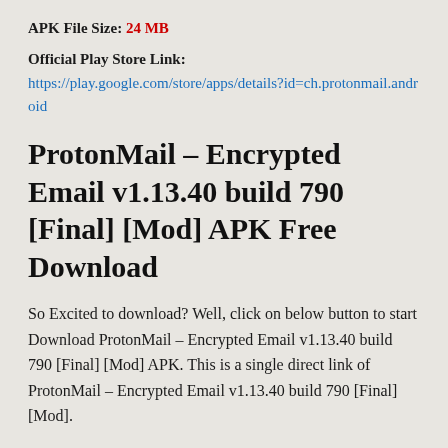APK File Size: 24 MB
Official Play Store Link: https://play.google.com/store/apps/details?id=ch.protonmail.android
ProtonMail – Encrypted Email v1.13.40 build 790 [Final] [Mod] APK Free Download
So Excited to download? Well, click on below button to start Download ProtonMail – Encrypted Email v1.13.40 build 790 [Final] [Mod] APK. This is a single direct link of ProtonMail – Encrypted Email v1.13.40 build 790 [Final] [Mod].